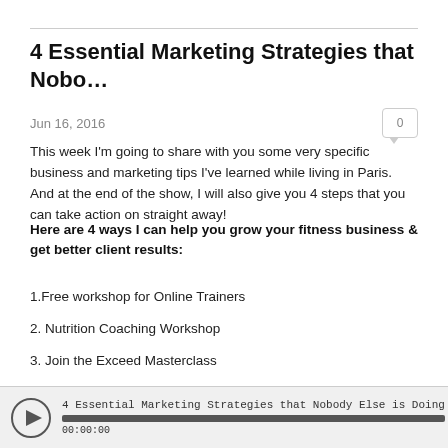4 Essential Marketing Strategies that Nobo…
Jun 16, 2016
This week I'm going to share with you some very specific business and marketing tips I've learned while living in Paris. And at the end of the show, I will also give you 4 steps that you can take action on straight away!
Here are 4 ways I can help you grow your fitness business & get better client results:
1.Free workshop for Online Trainers
2. Nutrition Coaching Workshop
3. Join the Exceed Masterclass
4. Purchase the Coaching Program Collection
[Figure (other): Audio player bar showing: 4 Essential Marketing Strategies that Nobody Else is Doing, progress bar, timestamp 00:00:00, Libsyn logo]